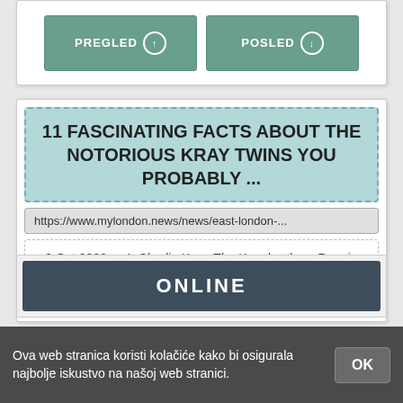[Figure (screenshot): Two green buttons labeled PREGLED and POSLED with icons]
11 FASCINATING FACTS ABOUT THE NOTORIOUS KRAY TWINS YOU PROBABLY ...
https://www.mylondon.news/news/east-london-...
9 Oct 2020 ... 4. Charlie Kray. The Kray brothers Reggie Charlie and Ronnie in 1965 (Image: Daily Mirror).
[Figure (screenshot): ONLINE button in dark background]
Ova web stranica koristi kolačiće kako bi osigurala najbolje iskustvo na našoj web stranici.